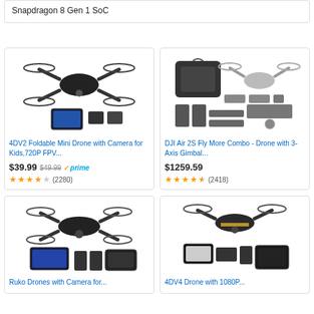Snapdragon 8 Gen 1 SoC
[Figure (photo): 4DV2 Foldable Mini Drone with Camera product image showing drone, phone and accessories]
4DV2 Foldable Mini Drone with Camera for Kids,720P FPV...
$39.99  $49.99  prime  ★★★★☆ (2280)
[Figure (photo): DJI Air 2S Fly More Combo product image showing drone bag, drone, controller and accessories laid out]
DJI Air 2S Fly More Combo - Drone with 3-Axis Gimbal...
$1259.59  ★★★★½ (2418)
[Figure (photo): Ruko Drones with Camera product image showing drone, controller, batteries and case]
Ruko Drones with Camera for...
[Figure (photo): 4DV4 Drone with 1080P product image showing drone, controller, phone and case]
4DV4 Drone with 1080P...